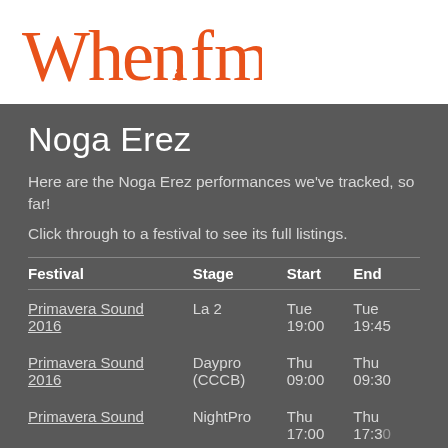[Figure (logo): When.fm logo in orange/coral color]
Noga Erez
Here are the Noga Erez performances we've tracked, so far!
Click through to a festival to see its full listings.
| Festival | Stage | Start | End |
| --- | --- | --- | --- |
| Primavera Sound 2016 | La 2 | Tue 19:00 | Tue 19:45 |
| Primavera Sound 2016 | Daypro (CCCB) | Thu 09:00 | Thu 09:30 |
| Primavera Sound 2016 | NightPro | Thu 17:00 | Thu 17:30 |